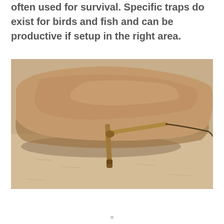often used for survival. Specific traps do exist for birds and fish and can be productive if setup in the right area.
[Figure (photo): A large flat rock propped up by two sticks forming a deadfall trap, set on sandy ground. A cord is attached to the trigger sticks.]
×